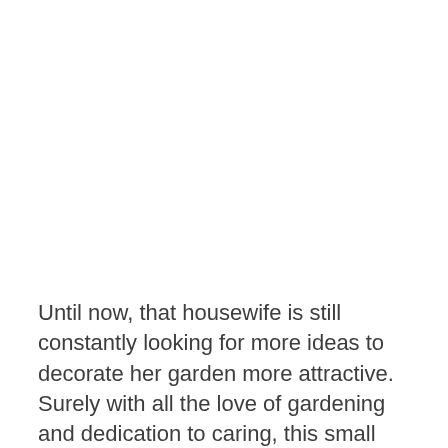Until now, that housewife is still constantly looking for more ideas to decorate her garden more attractive. Surely with all the love of gardening and dedication to caring, this small garden will grow more lush and more impressive.